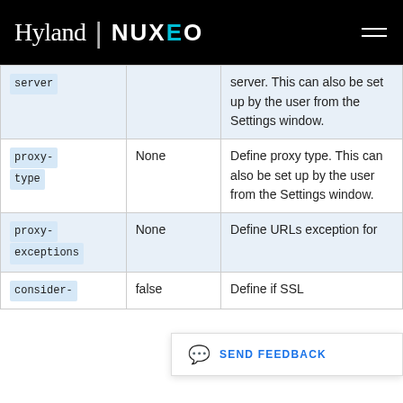Hyland | NUXEO
| Name | Default | Description |
| --- | --- | --- |
| server |  | server. This can also be set up by the user from the Settings window. |
| proxy-type | None | Define proxy type. This can also be set up by the user from the Settings window. |
| proxy-exceptions | None | Define URLs exception for |
| consider- | false | Define if SSL |
SEND FEEDBACK